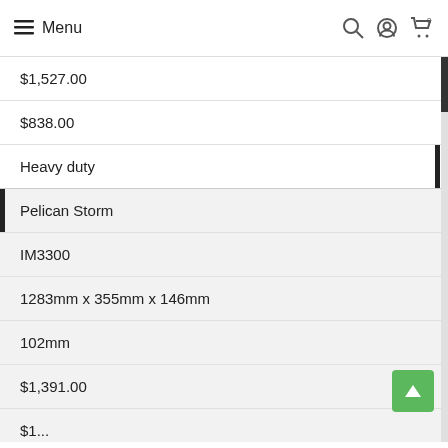Menu
$1,527.00
$838.00
Heavy duty
Pelican Storm
IM3300
1283mm x 355mm x 146mm
102mm
$1,391.00
$1...